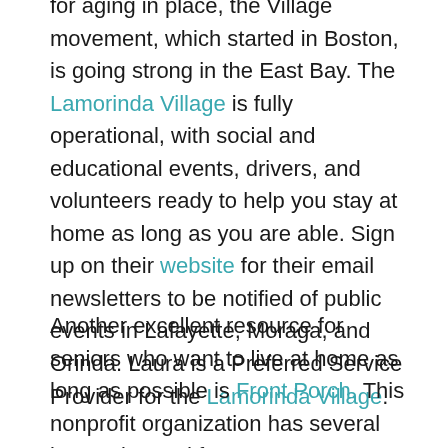for aging in place, the Village movement, which started in Boston, is going strong in the East Bay. The Lamorinda Village is fully operational, with social and educational events, drivers, and volunteers ready to help you stay at home as long as you are able. Sign up on their website for their email newsletters to be notified of public events in Lafayette, Moraga, and Orinda. Laura is a Preferred Service Provider for the Lamorinda Village.
Another excellent resource for seniors who want to live at home as long as possible is Front Porch. This nonprofit organization has several innovative and free programs: